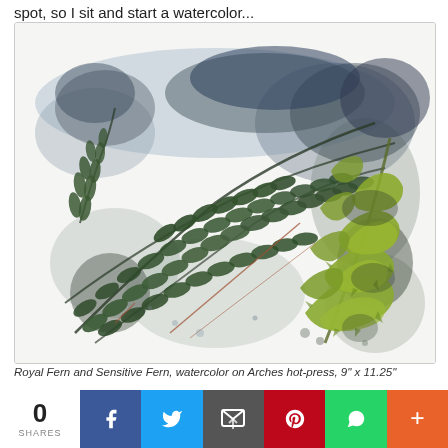spot, so I sit and start a watercolor...
[Figure (photo): Watercolor painting of Royal Fern and Sensitive Fern leaves arranged on white Arches hot-press paper, showing green and yellow-green fern fronds with dark watercolor washes]
Royal Fern and Sensitive Fern, watercolor on Arches hot-press, 9" x 11.25"
0 SHARES